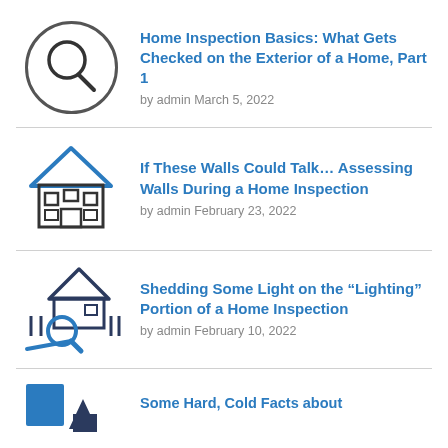[Figure (illustration): Magnifying glass icon inside a circle, line art style]
Home Inspection Basics: What Gets Checked on the Exterior of a Home, Part 1
by admin March 5, 2022
[Figure (illustration): House icon in blue with windows and door, line art style]
If These Walls Could Talk… Assessing Walls During a Home Inspection
by admin February 23, 2022
[Figure (illustration): House with magnifying glass icon, dark blue line art]
Shedding Some Light on the “Lighting” Portion of a Home Inspection
by admin February 10, 2022
[Figure (illustration): Blue square with house silhouette icon, partially visible]
Some Hard, Cold Facts about